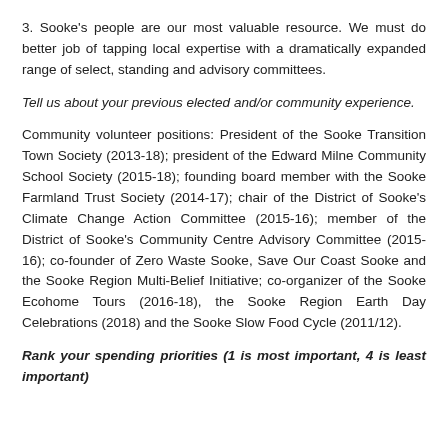3. Sooke's people are our most valuable resource. We must do better job of tapping local expertise with a dramatically expanded range of select, standing and advisory committees.
Tell us about your previous elected and/or community experience.
Community volunteer positions: President of the Sooke Transition Town Society (2013-18); president of the Edward Milne Community School Society (2015-18); founding board member with the Sooke Farmland Trust Society (2014-17); chair of the District of Sooke's Climate Change Action Committee (2015-16); member of the District of Sooke's Community Centre Advisory Committee (2015-16); co-founder of Zero Waste Sooke, Save Our Coast Sooke and the Sooke Region Multi-Belief Initiative; co-organizer of the Sooke Ecohome Tours (2016-18), the Sooke Region Earth Day Celebrations (2018) and the Sooke Slow Food Cycle (2011/12).
Rank your spending priorities (1 is most important, 4 is least important)